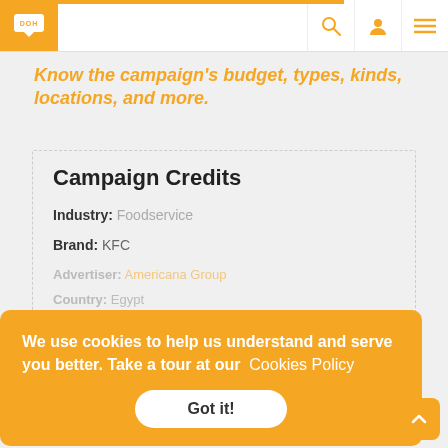DOH navigation bar with logo, search, user, and menu icons
Know the campaign's budget, types, kinds, locations, and more.
Campaign Credits
Industry: Foodservice
Brand: KFC
Advertiser: Americana Group
Country: Egypt
Region: North Africa
Tags: Americana Group | Awareness Campaign | KFC | Pepsi | Menu KFC | KFC Menu Egypt | KFC
We use cookies to help us understand and serve you better. Take a tour at our Cookies Policy
Got it!